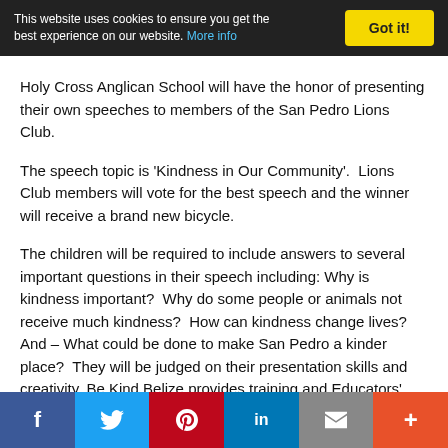This website uses cookies to ensure you get the best experience on our website. More info
Holy Cross Anglican School will have the honor of presenting their own speeches to members of the San Pedro Lions Club.
The speech topic is 'Kindness in Our Community'.  Lions Club members will vote for the best speech and the winner will receive a brand new bicycle.
The children will be required to include answers to several important questions in their speech including: Why is kindness important?  Why do some people or animals not receive much kindness?  How can kindness change lives? And – What could be done to make San Pedro a kinder place?  They will be judged on their presentation skills and creativity. Be Kind Belize provides training and Educators' Resource packs, free of charge to any school, humane society, community or individual who wishes to introduce the program locally.